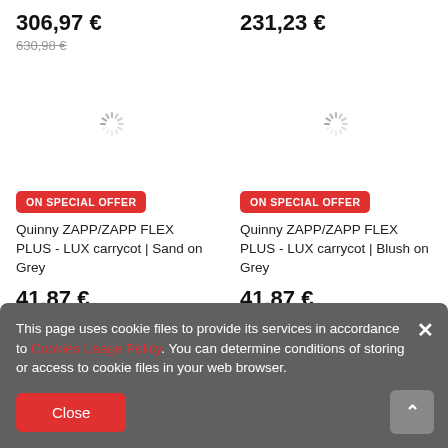306,97 €
630,98 €
231,23 €
[Figure (other): Loading spinner icon (left product)]
[Figure (other): Loading spinner icon (right product)]
ON SPECIAL OFFER
ON SPECIAL OFFER
Quinny ZAPP/ZAPP FLEX PLUS - LUX carrycot | Sand on Grey
Quinny ZAPP/ZAPP FLEX PLUS - LUX carrycot | Blush on Grey
41,87 €
189,15 €
41,87 €
189,15 €
This page uses cookie files to provide its services in accordance to Cookies Usage Policy. You can determine conditions of storing or access to cookie files in your web browser.
Close